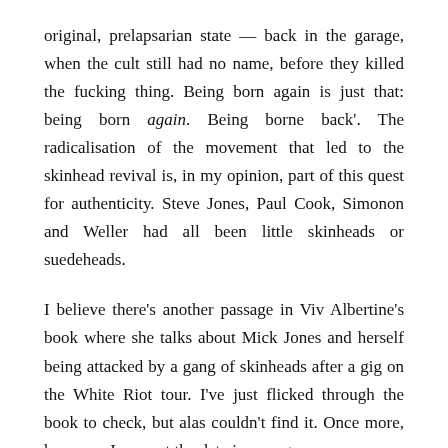original, prelapsarian state — back in the garage, when the cult still had no name, before they killed the fucking thing. Being born again is just that: being born again. Being borne back'. The radicalisation of the movement that led to the skinhead revival is, in my opinion, part of this quest for authenticity. Steve Jones, Paul Cook, Simonon and Weller had all been little skinheads or suedeheads.
I believe there's another passage in Viv Albertine's book where she talks about Mick Jones and herself being attacked by a gang of skinheads after a gig on the White Riot tour. I've just flicked through the book to check, but alas couldn't find it. Once more, however, I suspect the date is wrong.
All this is very anal, of course, but I can't help thinking